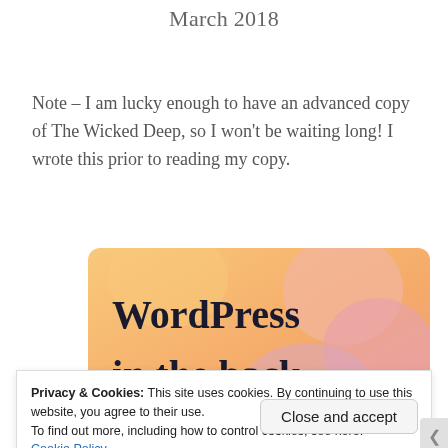March 2018
Note – I am lucky enough to have an advanced copy of The Wicked Deep, so I won't be waiting long! I wrote this prior to reading my copy.
[Figure (illustration): WordPress advertisement banner with orange/peach gradient background and bold text reading 'WordPress in the back.']
Privacy & Cookies: This site uses cookies. By continuing to use this website, you agree to their use.
To find out more, including how to control cookies, see here:
Cookie Policy
Close and accept